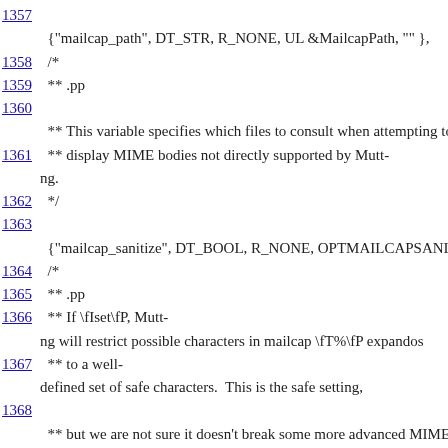1357
    {"mailcap_path", DT_STR, R_NONE, UL &MailcapPath, "" },
1358    /*
1359    ** .pp
1360
    ** This variable specifies which files to consult when attempting to
1361    ** display MIME bodies not directly supported by Mutt-ng.
1362    */
1363
    {"mailcap_sanitize", DT_BOOL, R_NONE, OPTMAILCAPSANIT
1364    /*
1365    ** .pp
1366    ** If \fIset\fP, Mutt-ng will restrict possible characters in mailcap \fT%\fP expandos
1367    ** to a well-defined set of safe characters.  This is the safe setting,
1368
    ** but we are not sure it doesn't break some more advanced MIME
1369    ** .pp
1370
    ** \fBDON'T CHANGE THIS SETTING UNLESS YOU ARE RE
1371    ** DOING!\fP
1372    */
1373 #ifdef USE_HCACHE